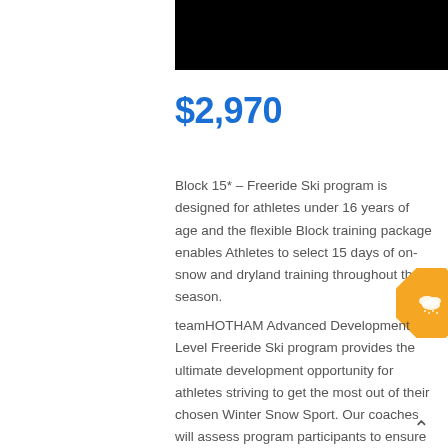[Figure (photo): Black banner/image at top of page]
$2,970
Block 15* – Freeride Ski program is designed for athletes under 16 years of age and the flexible Block training package enables Athletes to select 15 days of on-snow and dryland training throughout the season.
[Figure (illustration): Orange diamond badge with snow/cloud weather icon]
teamHOTHAM Advanced Development Level Freeride Ski program provides the ultimate development opportunity for athletes striving to get the most out of their chosen Winter Snow Sport. Our coaches will assess program participants to ensure they are matched with the best cohort to ensure they are able to develop and progress to their maximum